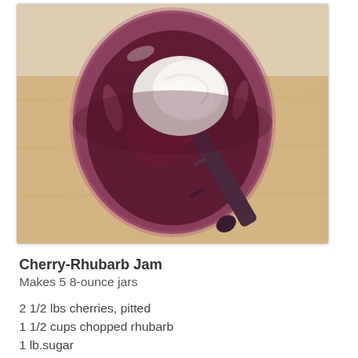[Figure (photo): Overhead view of a glass jar containing cherry-rhubarb jam with a dark-handled knife resting inside, on a wooden cutting board]
Cherry-Rhubarb Jam
Makes 5 8-ounce jars
2 1/2 lbs cherries, pitted
1 1/2 cups chopped rhubarb
1 lb.sugar
2 tablespoons lemon juice